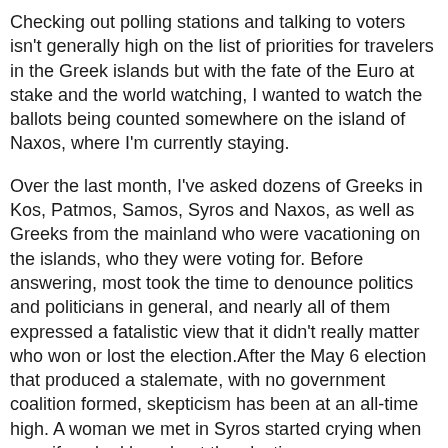Checking out polling stations and talking to voters isn't generally high on the list of priorities for travelers in the Greek islands but with the fate of the Euro at stake and the world watching, I wanted to watch the ballots being counted somewhere on the island of Naxos, where I'm currently staying.
Over the last month, I've asked dozens of Greeks in Kos, Patmos, Samos, Syros and Naxos, as well as Greeks from the mainland who were vacationing on the islands, who they were voting for. Before answering, most took the time to denounce politics and politicians in general, and nearly all of them expressed a fatalistic view that it didn't really matter who won or lost the election.After the May 6 election that produced a stalemate, with no government coalition formed, skepticism has been at an all-time high. A woman we met in Syros started crying when my wife asked her about the election.
“My country,” she said. “Everything’s gone totally wrong.”